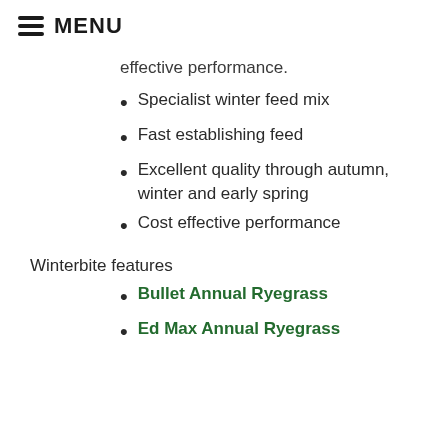MENU
effective performance.
Specialist winter feed mix
Fast establishing feed
Excellent quality through autumn, winter and early spring
Cost effective performance
Winterbite features
Bullet Annual Ryegrass
Ed Max Annual Ryegrass